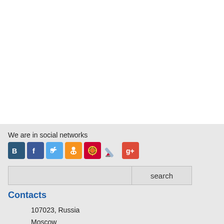We are in social networks
[Figure (other): Row of social network icons: VKontakte (blue), Facebook (blue), Twitter (light blue), Odnoklassniki (orange), Mail.ru (red), edit/pencil icon, Google+ (red)]
search
Contacts
107023, Russia
Moscow